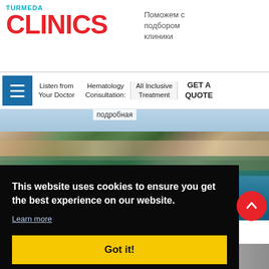TURMEDA CLINICS
Поможем с подбором клиники
Listen from Your Doctor | Hematology Consultation: подробная | All Inclusive Treatment | GET A QUOTE
[Figure (photo): Aerial/coastal view of Antalya Turkey with harbor and old town, text overlay: MEDICAL PARK ANTALYA HOSPITAL]
This website uses cookies to ensure you get the best experience on our website.
Learn more
Got it!